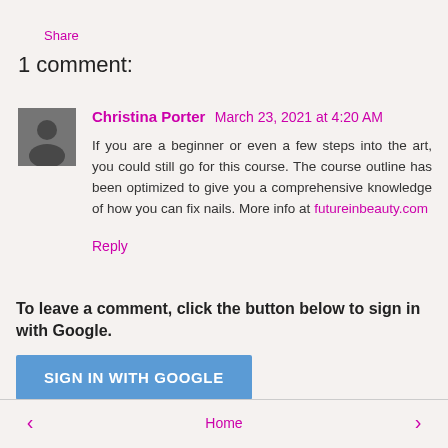Share
1 comment:
[Figure (photo): Profile photo of Christina Porter]
Christina Porter  March 23, 2021 at 4:20 AM
If you are a beginner or even a few steps into the art, you could still go for this course. The course outline has been optimized to give you a comprehensive knowledge of how you can fix nails. More info at futureinbeauty.com
Reply
To leave a comment, click the button below to sign in with Google.
SIGN IN WITH GOOGLE
< Home >